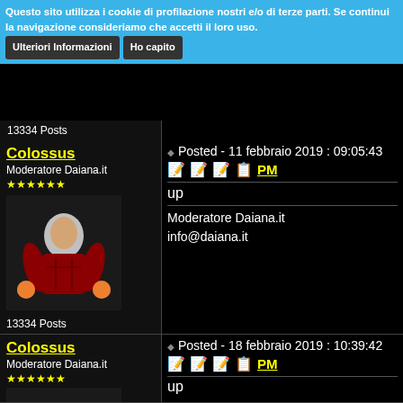Questo sito utilizza i cookie di profilazione nostri e/o di terze parti. Se continui la navigazione consideriamo che accetti il loro uso. [Ulteriori Informazioni] [Ho capito]
13334 Posts
Colossus
Moderatore Daiana.it
★★★★★★
[avatar image]
13334 Posts
Posted - 11 febbraio 2019 : 09:05:43
up
Moderatore Daiana.it
info@daiana.it
Colossus
Moderatore Daiana.it
★★★★★★
[avatar image]
Posted - 18 febbraio 2019 : 10:39:42
up
Moderatore Daiana.it
info@daiana.it